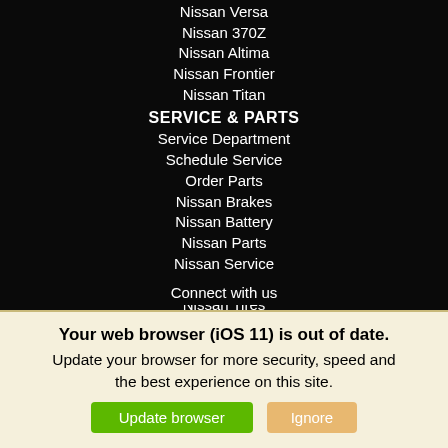Nissan Versa
Nissan 370Z
Nissan Altima
Nissan Frontier
Nissan Titan
SERVICE & PARTS
Service Department
Schedule Service
Order Parts
Nissan Brakes
Nissan Battery
Nissan Parts
Nissan Service
Nissan Oil Change
Nissan Tires
Connect with us
Your web browser (iOS 11) is out of date. Update your browser for more security, speed and the best experience on this site.
Update browser
Ignore